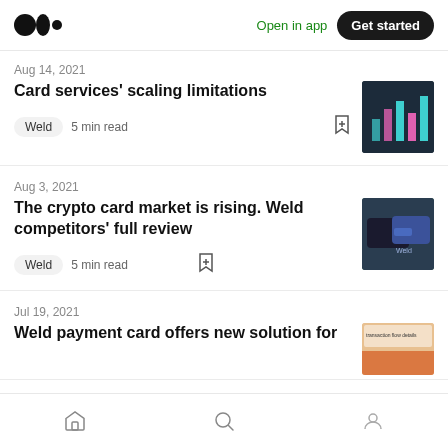Open in app | Get started
Aug 14, 2021
Card services' scaling limitations
Weld  5 min read
Aug 3, 2021
The crypto card market is rising. Weld competitors' full review
Weld  5 min read
Jul 19, 2021
Weld payment card offers new solution for